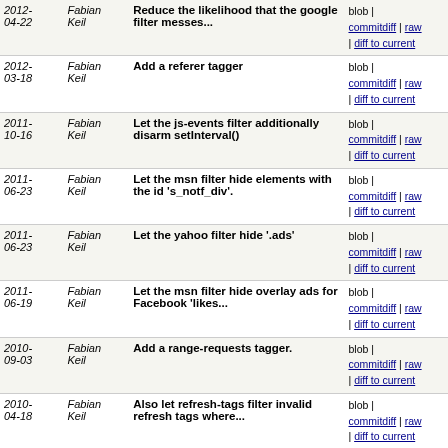| Date | Author | Message | Links |
| --- | --- | --- | --- |
| 2012-04-22 | Fabian Keil | Reduce the likelihood that the google filter messes... | blob | commitdiff | raw | diff to current |
| 2012-03-18 | Fabian Keil | Add a referer tagger | blob | commitdiff | raw | diff to current |
| 2011-10-16 | Fabian Keil | Let the js-events filter additionally disarm setInterval() | blob | commitdiff | raw | diff to current |
| 2011-06-23 | Fabian Keil | Let the msn filter hide elements with the id 's_notf_div'. | blob | commitdiff | raw | diff to current |
| 2011-06-23 | Fabian Keil | Let the yahoo filter hide '.ads' | blob | commitdiff | raw | diff to current |
| 2011-06-19 | Fabian Keil | Let the msn filter hide overlay ads for Facebook 'likes... | blob | commitdiff | raw | diff to current |
| 2010-09-03 | Fabian Keil | Add a range-requests tagger. | blob | commitdiff | raw | diff to current |
| 2010-04-18 | Fabian Keil | Also let refresh-tags filter invalid refresh tags where... | blob | commitdiff | raw | diff to current |
| 2010-02-05 | Fabian Keil | Unbreak the fun filter. Due to an unescaped dot in... | blob | commitdiff | raw | diff to current |
| 2009-10-03 | Fabian Keil | Update the google filter to remove the width restrictio... | blob | commitdiff | raw | diff to current |
| 2009-10-03 | Fabian Keil | Update the yahoo filter to remove the width restriction... | blob | commitdiff | raw | diff to current |
| 2009-10-03 | Fabian Keil | Update the msn filter to remove the width restrictions... | blob | commitdiff | raw | diff to current |
| 2009-10-01 | Fabian Keil | Let the yahoo filter hide elements with the id 'sponsor... | blob | commitdiff | raw | diff to current |